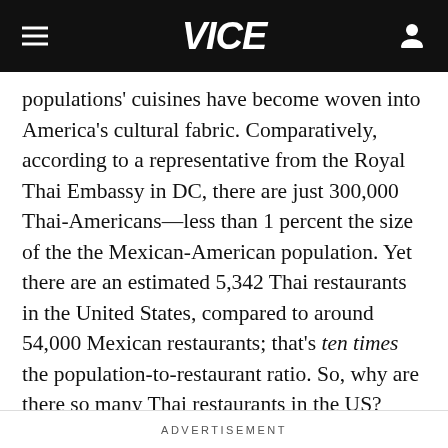VICE
populations' cuisines have become woven into America's cultural fabric. Comparatively, according to a representative from the Royal Thai Embassy in DC, there are just 300,000 Thai-Americans—less than 1 percent the size of the the Mexican-American population. Yet there are an estimated 5,342 Thai restaurants in the United States, compared to around 54,000 Mexican restaurants; that's ten times the population-to-restaurant ratio. So, why are there so many Thai restaurants in the US?
ADVERTISEMENT